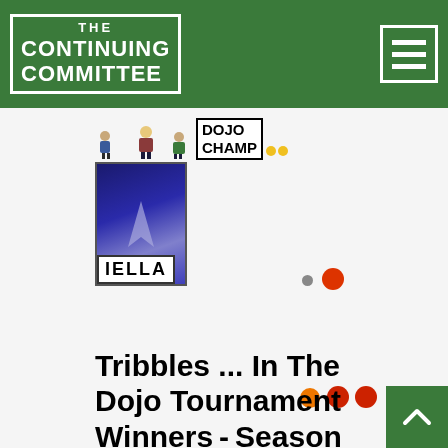THE CONTINUING COMMITTEE
[Figure (logo): Dojo Champ logo with cartoon figures and a Star Trek card showing 'IELLA' label, with orange/red loading dots]
Tribbles ... In The Dojo Tournament Winners - Season One